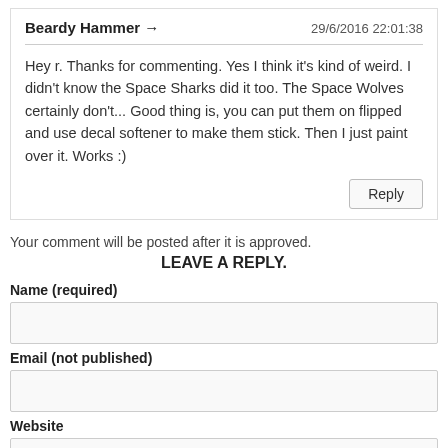Beardy Hammer → | 29/6/2016 22:01:38
Hey r. Thanks for commenting. Yes I think it's kind of weird. I didn't know the Space Sharks did it too. The Space Wolves certainly don't... Good thing is, you can put them on flipped and use decal softener to make them stick. Then I just paint over it. Works :)
Reply
Your comment will be posted after it is approved.
LEAVE A REPLY.
Name (required)
Email (not published)
Website